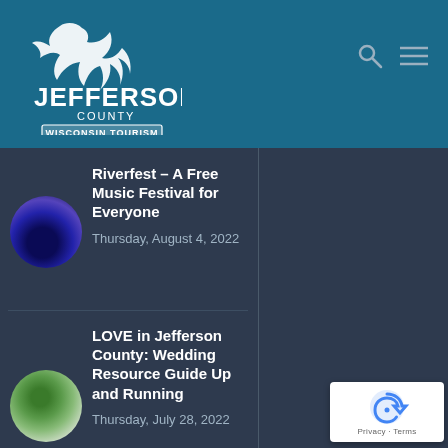[Figure (logo): Jefferson County Wisconsin Tourism logo — white bird/eagle silhouette with text on teal/blue header background]
[Figure (photo): Circular thumbnail: concert stage with blue lighting and crowd silhouettes]
Riverfest – A Free Music Festival for Everyone
Thursday, August 4, 2022
[Figure (photo): Circular thumbnail: wedding flowers and foliage, aerial view]
LOVE in Jefferson County: Wedding Resource Guide Up and Running
Thursday, July 28, 2022